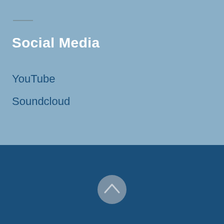Social Media
YouTube
Soundcloud
[Figure (illustration): Circular button with an upward-pointing chevron arrow icon, gray background, on dark blue section]